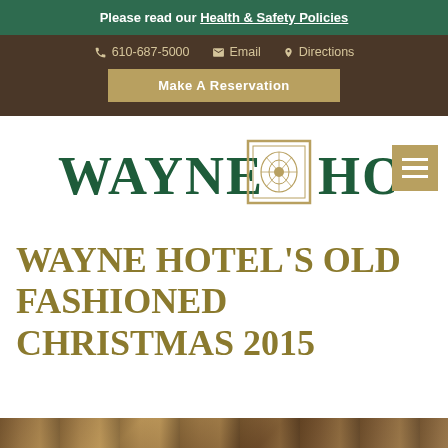Please read our Health & Safety Policies
610-687-5000   Email   Directions
Make A Reservation
[Figure (logo): Wayne Hotel logo with decorative emblem between WAYNE and HOTEL text in dark green serif font]
WAYNE HOTEL'S OLD FASHIONED CHRISTMAS 2015
[Figure (photo): Partial photo strip at bottom of page showing Christmas or hotel scene]